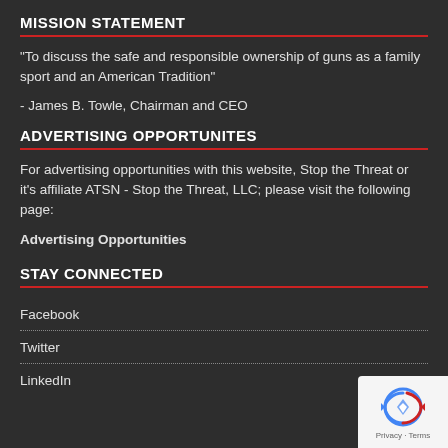MISSION STATEMENT
"To discuss the safe and responsible ownership of guns as a family sport and an American Tradition"
- James B. Towle, Chairman and CEO
ADVERTISING OPPORTUNITES
For advertising opportunities with this website, Stop the Threat or it's affiliate ATSN - Stop the Threat, LLC; please visit the following page:
Advertising Opportunities
STAY CONNECTED
Facebook
Twitter
LinkedIn